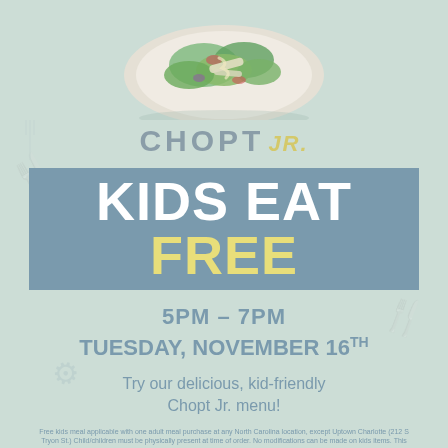[Figure (photo): Top-down photo of a salad bowl with greens, chicken, and dressing on a light plate, partially visible at top of page]
CHOPT Jr.
KIDS EAT FREE
5PM – 7PM
TUESDAY, NOVEMBER 16TH
Try our delicious, kid-friendly Chopt Jr. menu!
Free kids meal applicable with one adult meal purchase at any North Carolina location, except Uptown Charlotte (212 S Tryon St.) Child/children must be physically present at time of order. No modifications can be made on kids items. This promotion is non-transferable, has no cash value, and cannot be applied to any other use. If family with multiple children, up to three free kids meals per one adult purchase.